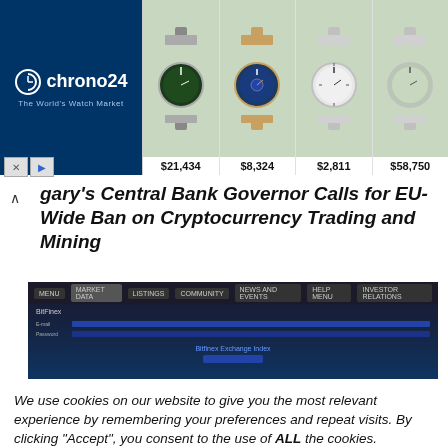[Figure (screenshot): Chrono24 advertisement banner with logo on left (dark blue background) and four luxury watch photos with prices: $21,434, $8,324, $2,811, $58,750]
gary's Central Bank Governor Calls for EU-Wide Ban on Cryptocurrency Trading and Mining
[Figure (screenshot): Blurred screenshot of a website interface with dark navigation bar and form fields]
We use cookies on our website to give you the most relevant experience by remembering your preferences and repeat visits. By clicking “Accept”, you consent to the use of ALL the cookies.
Do not sell my personal information.
Cookie Settings   Accept